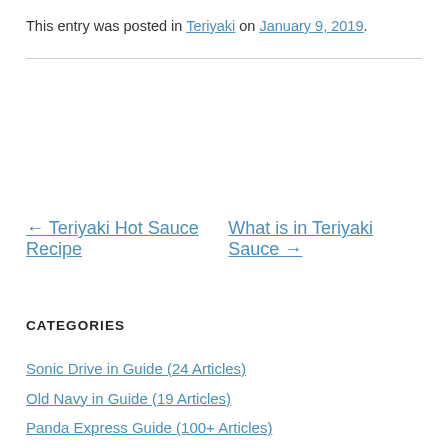This entry was posted in Teriyaki on January 9, 2019.
← Teriyaki Hot Sauce Recipe   What is in Teriyaki Sauce →
CATEGORIES
Sonic Drive in Guide (24 Articles)
Old Navy in Guide (19 Articles)
Panda Express Guide (100+ Articles)